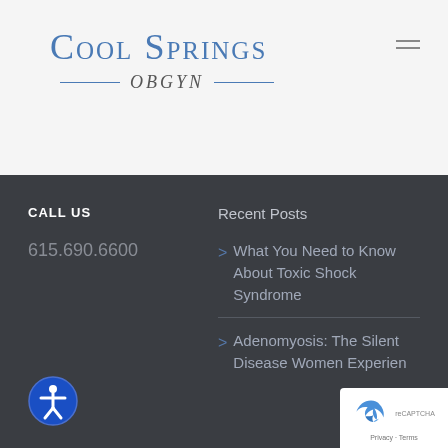[Figure (logo): Cool Springs OBGYN logo with blue serif text and decorative lines around OBGYN subtitle]
CALL US
615.690.6600
Recent Posts
> What You Need to Know About Toxic Shock Syndrome
> Adenomyosis: The Silent Disease Women Experien...